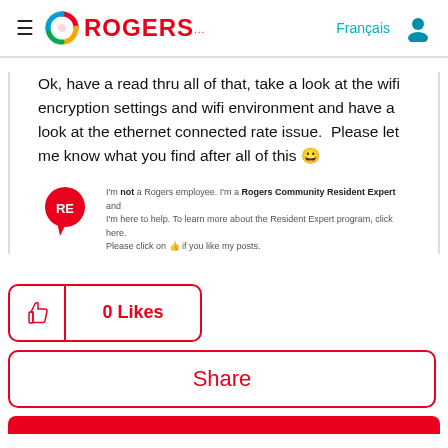Rogers — Français
Ok, have a read thru all of that, take a look at the wifi encryption settings and wifi environment and have a look at the ethernet connected rate issue.  Please let me know what you find after all of this 🙂
[Figure (other): Rogers Community Resident Expert badge with red circle RE icon and disclaimer text: I'm not a Rogers employee. I'm a Rogers Community Resident Expert and I'm here to help. To learn more about the Resident Expert program, click here. Please click on 👍 if you like my posts.]
[Figure (other): Like button showing thumbs up icon and '0 Likes' in red, with red border rounded rectangle]
[Figure (other): Share button with red border and red text 'Share']